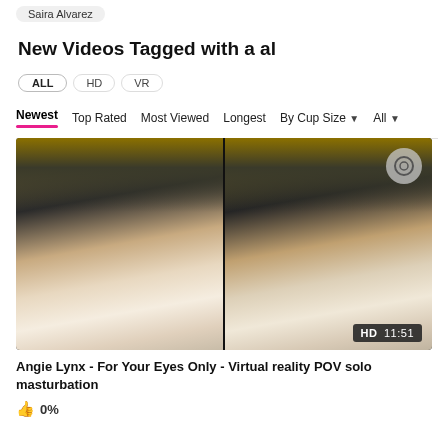Saira Alvarez
New Videos Tagged with a al
ALL  HD  VR
Newest  Top Rated  Most Viewed  Longest  By Cup Size  All
[Figure (screenshot): VR video thumbnail showing side-by-side stereoscopic view of Angie Lynx solo masturbation scene, labeled HD 11:51]
Angie Lynx - For Your Eyes Only - Virtual reality POV solo masturbation
0%